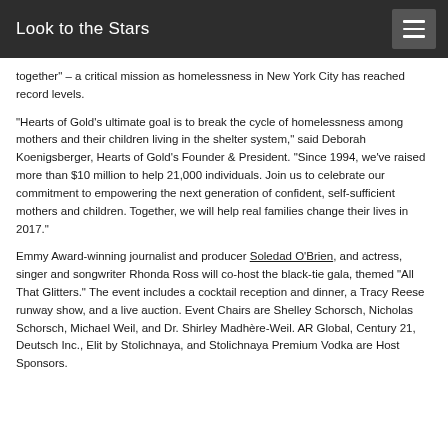Look to the Stars
together" – a critical mission as homelessness in New York City has reached record levels.
“Hearts of Gold's ultimate goal is to break the cycle of homelessness among mothers and their children living in the shelter system,” said Deborah Koenigsberger, Hearts of Gold’s Founder & President. “Since 1994, we’ve raised more than $10 million to help 21,000 individuals. Join us to celebrate our commitment to empowering the next generation of confident, self-sufficient mothers and children. Together, we will help real families change their lives in 2017.”
Emmy Award-winning journalist and producer Soledad O’Brien, and actress, singer and songwriter Rhonda Ross will co-host the black-tie gala, themed “All That Glitters.” The event includes a cocktail reception and dinner, a Tracy Reese runway show, and a live auction. Event Chairs are Shelley Schorsch, Nicholas Schorsch, Michael Weil, and Dr. Shirley Madhère-Weil. AR Global, Century 21, Deutsch Inc., Elit by Stolichnaya, and Stolichnaya Premium Vodka are Host Sponsors.